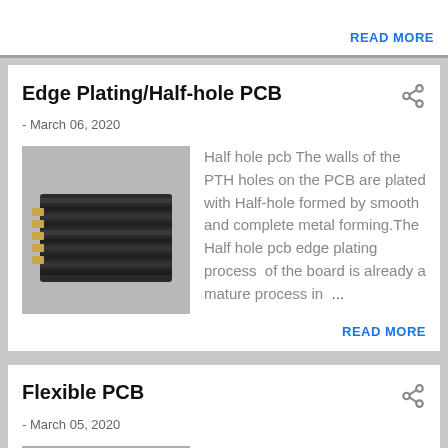READ MORE
Edge Plating/Half-hole PCB
- March 06, 2020
[Figure (photo): Photo of a dark-colored layered PCB board with gold connector pads visible on the edge, shown at an angle.]
Half hole pcb The walls of the PTH holes on the PCB are plated with Half-hole formed by smooth and complete metal forming.The Half hole pcb edge plating process  of the board is already a mature process in  ...
READ MORE
Flexible PCB
- March 05, 2020